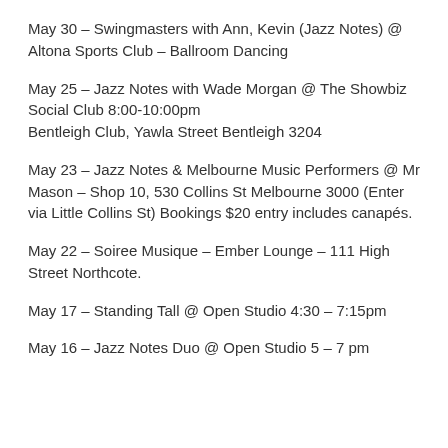May 30 – Swingmasters with Ann, Kevin (Jazz Notes) @ Altona Sports Club – Ballroom Dancing
May 25 – Jazz Notes with Wade Morgan @ The Showbiz Social Club 8:00-10:00pm
Bentleigh Club, Yawla Street Bentleigh 3204
May 23 – Jazz Notes & Melbourne Music Performers @ Mr Mason – Shop 10, 530 Collins St Melbourne 3000 (Enter via Little Collins St) Bookings $20 entry includes canapés.
May 22 – Soiree Musique – Ember Lounge – 111 High Street Northcote.
May 17 – Standing Tall @ Open Studio 4:30 – 7:15pm
May 16 – Jazz Notes Duo @ Open Studio 5 – 7 pm